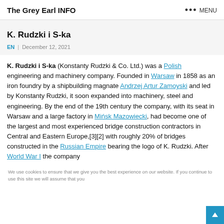The Grey Earl INFO  ••• MENU
K. Rudzki i S-ka
EN  December 12, 2021
K. Rudzki i S-ka (Konstanty Rudzki & Co. Ltd.) was a Polish engineering and machinery company. Founded in Warsaw in 1858 as an iron foundry by a shipbuilding magnate Andrzej Artur Zamoyski and led by Konstanty Rudzki, it soon expanded into machinery, steel and engineering. By the end of the 19th century the company, with its seat in Warsaw and a large factory in Mińsk Mazowiecki, had become one of the largest and most experienced bridge construction contractors in Central and Eastern Europe,[3][2] with roughly 20% of bridges constructed in the Russian Empire bearing the logo of K. Rudzki. After World War I the company